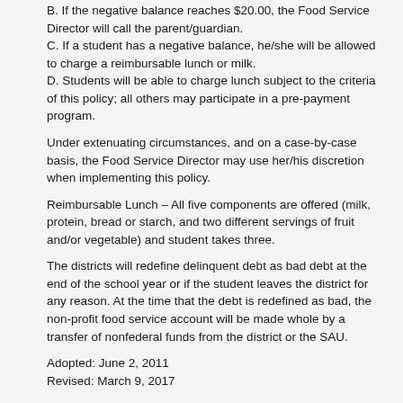B. If the negative balance reaches $20.00, the Food Service Director will call the parent/guardian.
C. If a student has a negative balance, he/she will be allowed to charge a reimbursable lunch or milk.
D. Students will be able to charge lunch subject to the criteria of this policy; all others may participate in a pre-payment program.
Under extenuating circumstances, and on a case-by-case basis, the Food Service Director may use her/his discretion when implementing this policy.
Reimbursable Lunch – All five components are offered (milk, protein, bread or starch, and two different servings of fruit and/or vegetable) and student takes three.
The districts will redefine delinquent debt as bad debt at the end of the school year or if the student leaves the district for any reason. At the time that the debt is redefined as bad, the non-profit food service account will be made whole by a transfer of nonfederal funds from the district or the SAU.
Adopted: June 2, 2011
Revised: March 9, 2017